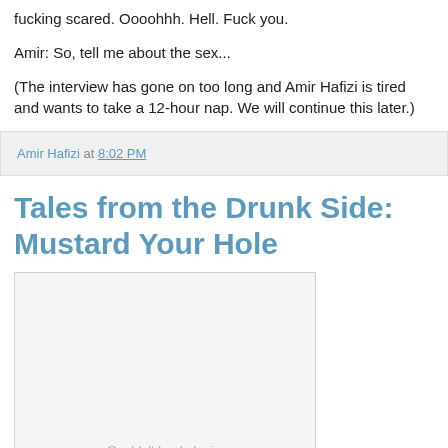fucking scared. Oooohhh. Hell. Fuck you.
Amir: So, tell me about the sex...
(The interview has gone on too long and Amir Hafizi is tired and wants to take a 12-hour nap. We will continue this later.)
Amir Hafizi at 8:02 PM
Tales from the Drunk Side: Mustard Your Hole
[Figure (other): Couldn't load plugin.]